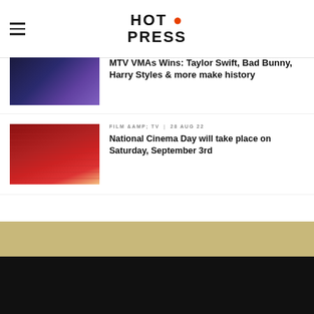HOT PRESS
MTV VMAs Wins: Taylor Swift, Bad Bunny, Harry Styles & more make history
FILM &AMP; TV  |  28 AUG 22
National Cinema Day will take place on Saturday, September 3rd
COMPETITIONS  |  26 AUG 22
WIN: A Goodie Bag to Celebrate the ONLY MURDERS IN THE BUILDING Season Two Finale